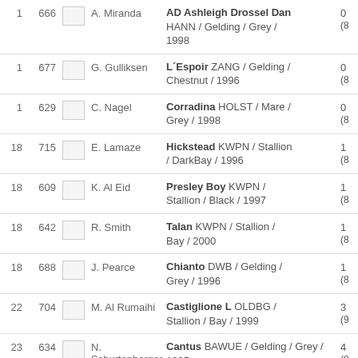1  666  A. Miranda  AD Ashleigh Drossel Dan  HANN / Gelding / Grey / 1998  0 (8
1  677  G. Gulliksen  L'Espoir ZANG / Gelding / Chestnut / 1996  0 (8
1  629  C. Nagel  Corradina HOLST / Mare / Grey / 1998  0 (8
18  715  E. Lamaze  Hickstead KWPN / Stallion / DarkBay / 1996  1 (8
18  609  K. Al Eid  Presley Boy KWPN / Stallion / Black / 1997  1 (8
18  642  R. Smith  Talan KWPN / Stallion / Bay / 2000  1 (8
18  688  J. Pearce  Chianto DWB / Gelding / Grey / 1996  1 (8
22  704  M. Al Rumaihi  Castiglione L OLDBG / Stallion / Bay / 1999  3 (9
23  634  N. Schurtenberger  Cantus BAWUE / Gelding / Grey / 1995  4 (8
23  732  M. Ward  Sapphire BWP / Mare /  4